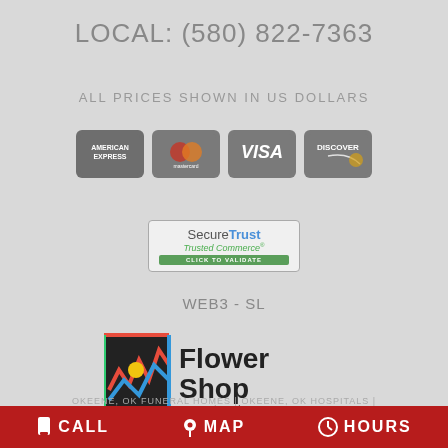LOCAL: (580) 822-7363
ALL PRICES SHOWN IN US DOLLARS
[Figure (logo): Payment method icons: American Express, Mastercard, Visa, Discover]
[Figure (logo): SecureTrust Trusted Commerce Click to Validate badge]
WEB3 - SL
[Figure (logo): Flower Shop Network logo]
OKEENE, OK FUNERAL HOMES | OKEENE, OK HOSPITALS |
CALL   MAP   HOURS